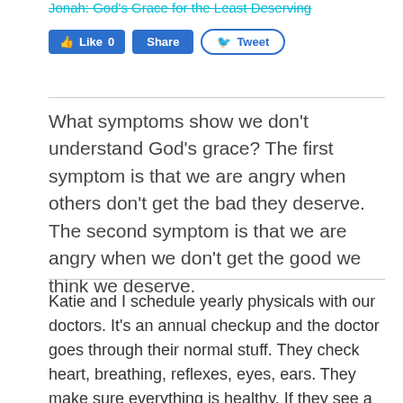Series: Jonah: God's Grace for the Least Deserving
[Figure (screenshot): Social media buttons: Like 0 (Facebook), Share (Facebook), Tweet (Twitter)]
What symptoms show we don't understand God's grace? The first symptom is that we are angry when others don't get the bad they deserve. The second symptom is that we are angry when we don't get the good we think we deserve.
Katie and I schedule yearly physicals with our doctors. It's an annual checkup and the doctor goes through their normal stuff. They check heart, breathing, reflexes, eyes, ears. They make sure everything is healthy. If they see a symptom